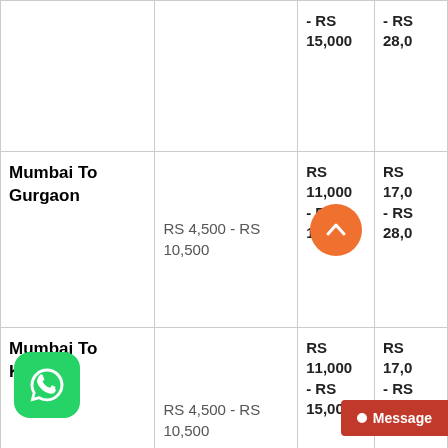| Route | Bike Transport | 2 Wheeler | 4 Wheeler |
| --- | --- | --- | --- |
|  |  | - RS 15,000 | - RS 28,0... |
| Mumbai To Gurgaon | RS 4,500 - RS 10,500 | RS 11,000 - RS 15,000 | RS 17,0... - RS 28,0... |
| Mumbai To Kerla | RS 4,500 - RS 10,500 | RS 11,000 - RS 15,000 | RS 17,0... - RS 28,0... |
| Mumbai To Aurangabad | RS 4,500 - RS 10,500 | RS 11,000 - RS 15,000 | RS 17,0... - RS 28,0... |
| Mumbai To | RS 4,500 - RS 10,500 | RS... | RS... |